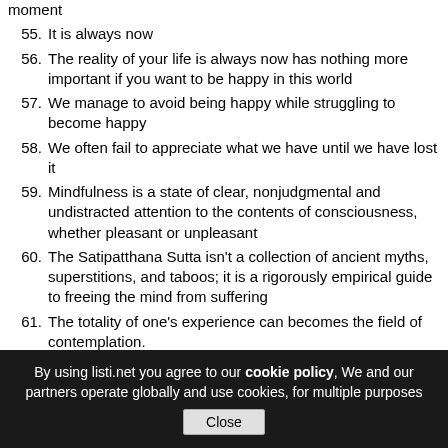moment
55. It is always now
56. The reality of your life is always now has nothing more important if you want to be happy in this world
57. We manage to avoid being happy while struggling to become happy
58. We often fail to appreciate what we have until we have lost it
59. Mindfulness is a state of clear, nonjudgmental and undistracted attention to the contents of consciousness, whether pleasant or unpleasant
60. The Satipatthana Sutta isn't a collection of ancient myths, superstitions, and taboos; it is a rigorously empirical guide to freeing the mind from suffering
61. The totality of one's experience can becomes the field of contemplation.
Top
blog comments powered by Disqus
By using listi.net you agree to our cookie policy, We and our partners operate globally and use cookies, for multiple purposes
Close